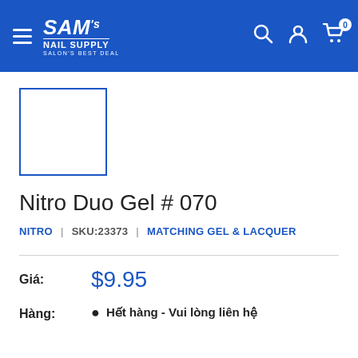[Figure (logo): SAM's NAIL SUPPLY logo with hamburger menu and header icons (search, user, cart with badge 0) on blue background]
[Figure (photo): Product image placeholder — white square with blue border]
Nitro Duo Gel # 070
NITRO | SKU:23373 | MATCHING GEL & LACQUER
Giá: $9.95
Hàng: • Hết hàng - Vui lòng liên hệ